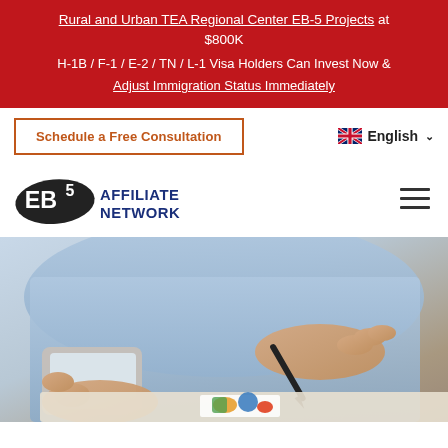Rural and Urban TEA Regional Center EB-5 Projects at $800K
H-1B / F-1 / E-2 / TN / L-1 Visa Holders Can Invest Now & Adjust Immigration Status Immediately
Schedule a Free Consultation
English
[Figure (logo): EB5 Affiliate Network logo with US map silhouette]
[Figure (photo): Business person in light blue shirt holding a tablet and a stylus/pen, reviewing documents with colorful charts on a desk]